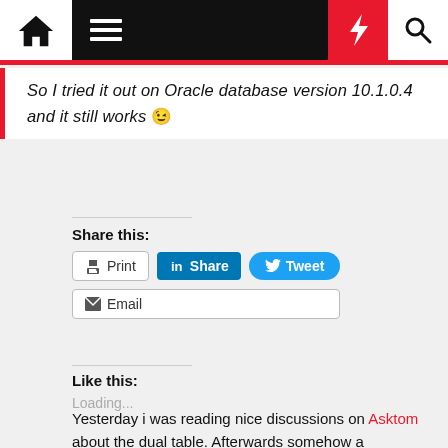Navigation bar with home, menu, lightning, and search icons
So I tried it out on Oracle database version 10.1.0.4 and it still works 😉
Share this:
Print | Share | Tweet | Email
Like this:
Loading...
Yesterday i was reading nice discussions on Asktom about the dual table. Afterwards somehow a "undocumented" Oracle feature popped into my